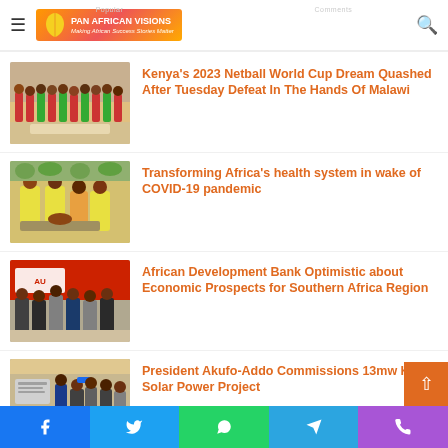Pan African Visions — Making African Success Stories Matter
[Figure (photo): Group photo of netball team members in red and green uniforms]
Kenya's 2023 Netball World Cup Dream Quashed After Tuesday Defeat In The Hands Of Malawi
[Figure (photo): Healthcare workers in yellow protective gear treating patients]
Transforming Africa's health system in wake of COVID-19 pandemic
[Figure (photo): African Development Bank officials meeting in formal setting]
African Development Bank Optimistic about Economic Prospects for Southern Africa Region
[Figure (photo): President Akufo-Addo commissioning solar power project with officials]
President Akufo-Addo Commissions 13mw Kaleo Solar Power Project
Facebook | Twitter | WhatsApp | Telegram | Phone